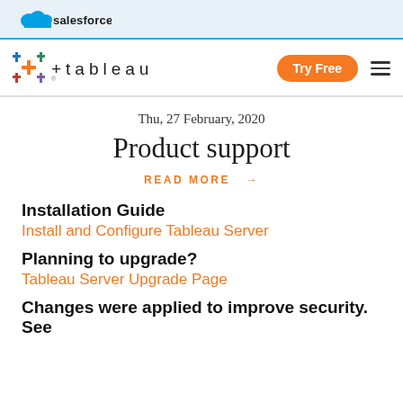salesforce
[Figure (logo): Tableau logo with colored plus grid and t-a-b-l-e-a-u wordmark, Try Free orange button, hamburger menu]
Thu, 27 February, 2020
Product support
READ MORE →
Installation Guide
Install and Configure Tableau Server
Planning to upgrade?
Tableau Server Upgrade Page
Changes were applied to improve security. See